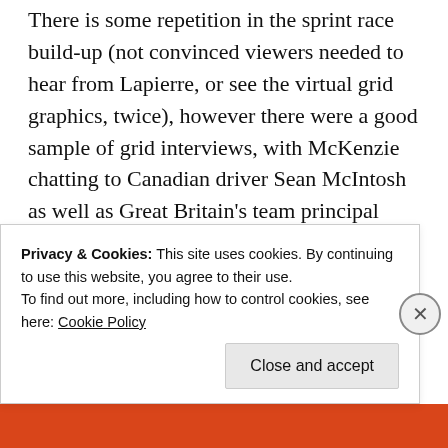There is some repetition in the sprint race build-up (not convinced viewers needed to hear from Lapierre, or see the virtual grid graphics, twice), however there were a good sample of grid interviews, with McKenzie chatting to Canadian driver Sean McIntosh as well as Great Britain's team principal John Surtees.
Advertisements
[Figure (other): Advertisement banner for Fewer meetings, more work with logo P2]
REPORT THIS AD
Privacy & Cookies: This site uses cookies. By continuing to use this website, you agree to their use.
To find out more, including how to control cookies, see here: Cookie Policy
Close and accept